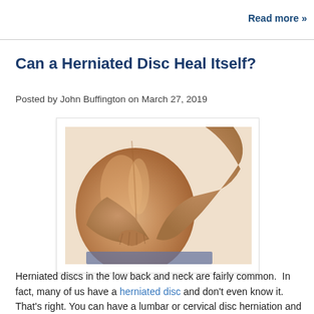Read more »
Can a Herniated Disc Heal Itself?
Posted by John Buffington on March 27, 2019
[Figure (photo): Person holding their lower back with both hands, suggesting back pain from a herniated disc.]
Herniated discs in the low back and neck are fairly common.  In fact, many of us have a herniated disc and don't even know it. That's right. You can have a lumbar or cervical disc herniation and